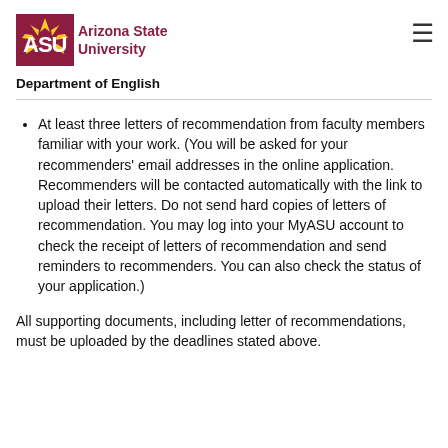[Figure (logo): Arizona State University logo with ASU text in maroon and gold sunburst, with 'Arizona State University' text in maroon]
Department of English
At least three letters of recommendation from faculty members familiar with your work. (You will be asked for your recommenders' email addresses in the online application. Recommenders will be contacted automatically with the link to upload their letters. Do not send hard copies of letters of recommendation. You may log into your MyASU account to check the receipt of letters of recommendation and send reminders to recommenders. You can also check the status of your application.)
All supporting documents, including letter of recommendations, must be uploaded by the deadlines stated above.